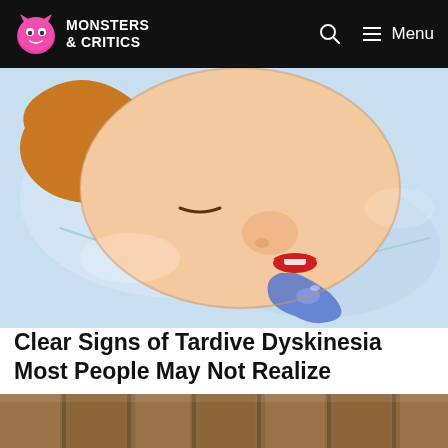MONSTERS & CRITICS
[Figure (illustration): Cartoon illustration of a person lying on a pillow, drooling, depicting a symptom of Tardive Dyskinesia]
Clear Signs of Tardive Dyskinesia Most People May Not Realize
Tardive Dyskinesia | Search Ad
[Figure (photo): Partial photo strip at the bottom of the page, showing a brown/wooden surface]